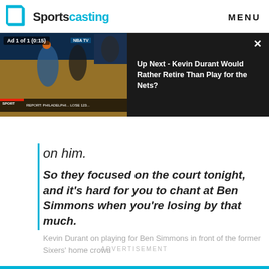Sportscasting | MENU
[Figure (screenshot): Video player showing a basketball game ad with 'Ad 1 of 1 (0:15)' label, and a sidebar showing 'Up Next - Kevin Durant Would Rather Retire Than Play for the Nets?' with a close X button]
on him.
So they focused on the court tonight, and it's hard for you to chant at Ben Simmons when you're losing by that much.
Kevin Durant on playing for Ben Simmons in front of the former Sixers' home crowd
ADVERTISEMENT